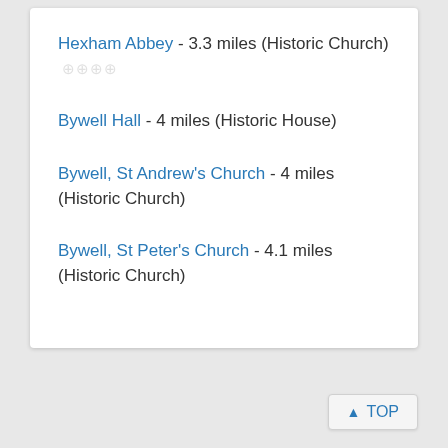Hexham Abbey - 3.3 miles (Historic Church)
Bywell Hall - 4 miles (Historic House)
Bywell, St Andrew's Church - 4 miles (Historic Church)
Bywell, St Peter's Church - 4.1 miles (Historic Church)